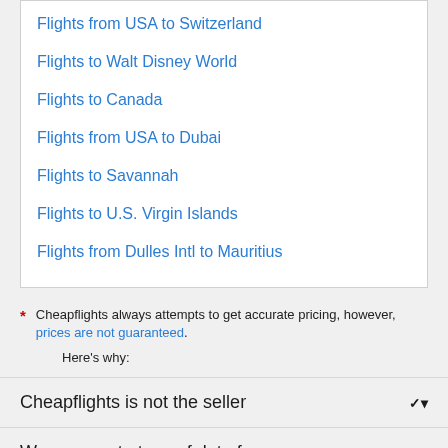Flights from USA to Switzerland
Flights to Walt Disney World
Flights to Canada
Flights from USA to Dubai
Flights to Savannah
Flights to U.S. Virgin Islands
Flights from Dulles Intl to Mauritius
* Cheapflights always attempts to get accurate pricing, however, prices are not guaranteed. Here's why:
Cheapflights is not the seller
We aggregate tons of data for you
Why aren't prices 100% accurate?